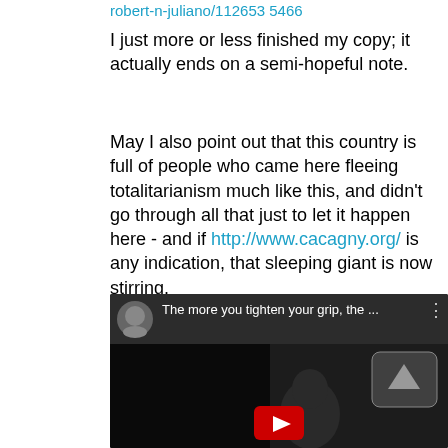robert-n-juliano/112653 5466
I just more or less finished my copy; it actually ends on a semi-hopeful note.
May I also point out that this country is full of people who came here fleeing totalitarianism much like this, and didn't go through all that just to let it happen here - and if http://www.cacagny.org/ is any indication, that sleeping giant is now stirring.
[Figure (screenshot): YouTube video embed with title 'The more you tighten your grip, the ...' showing a dark video thumbnail with a play button and navigation arrow]